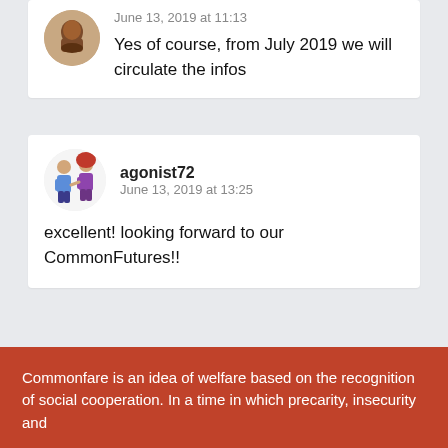Yes of course, from July 2019 we will circulate the infos
June 13, 2019 at 11:13
agonist72
June 13, 2019 at 13:25
excellent! looking forward to our CommonFutures!!
Commonfare is an idea of welfare based on the recognition of social cooperation. In a time in which precarity, insecurity and